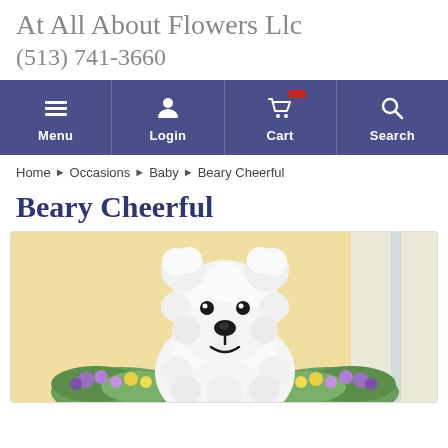At All About Flowers Llc
(513) 741-3660
[Figure (screenshot): Navigation bar with Menu, Login, Cart (with red badge), and Search icons on a dark blue/purple background]
Home › Occasions › Baby › Beary Cheerful
Beary Cheerful
[Figure (photo): A floral arrangement shaped like a white bear (made of white fluffy flowers) with black button eyes and nose, surrounded by colorful flowers (purple, yellow) and green ferns, on a warm yellow background]